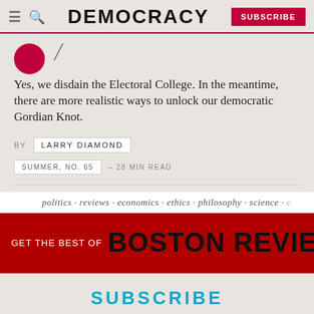DEMOCRACY — SUBSCRIBE
Yes, we disdain the Electoral College. In the meantime, there are more realistic ways to unlock our democratic Gordian Knot.
BY LARRY DIAMOND
SUMMER, NO. 65 – 28 MIN READ
[Figure (infographic): Boston Review advertisement banner with topics bar (politics, reviews, economics, ethics, philosophy, science) and red banner reading GET THE BEST OF BOSTON REVIEW DELIV SUBSC]
SUBSCRIBE